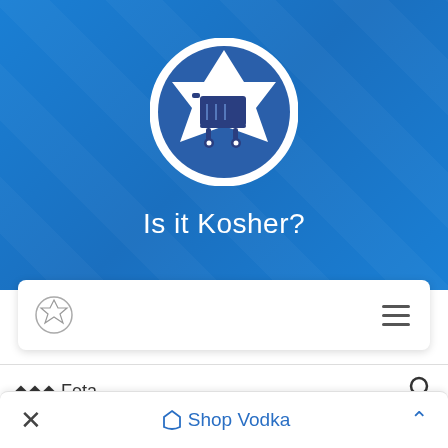[Figure (logo): Is it Kosher? app logo: white circle with a Star of David shape containing a dark blue shopping cart icon, on blue background]
Is it Kosher?
[Figure (screenshot): App navigation bar with small star/logo icon on left and hamburger menu icon on right]
◆◆◆ Feta
× ◇ Shop Vodka ^